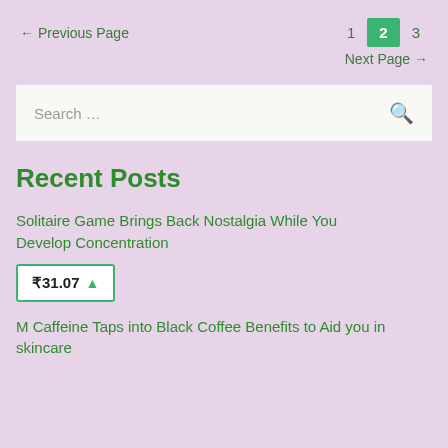← Previous Page    1  2  3
Next Page →
Search ...
Recent Posts
Solitaire Game Brings Back Nostalgia While You Develop Concentration
₹31.07 ▲
M Caffeine Taps into Black Coffee Benefits to Aid you in skincare